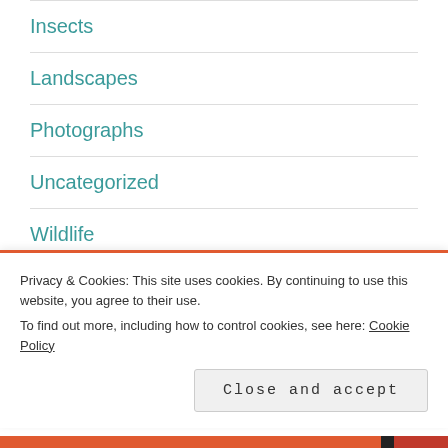Insects
Landscapes
Photographs
Uncategorized
Wildlife
Privacy & Cookies: This site uses cookies. By continuing to use this website, you agree to their use. To find out more, including how to control cookies, see here: Cookie Policy
Close and accept